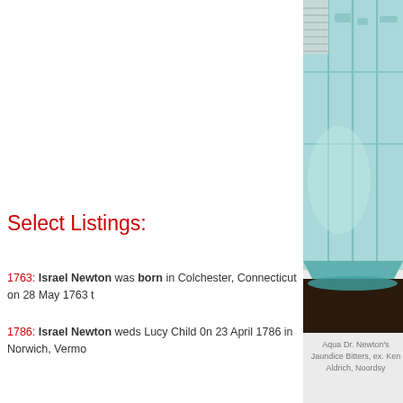[Figure (photo): Close-up photo of an aqua-colored antique glass bitters bottle with embossed panels, cropped showing the lower corner and base on a dark surface.]
Aqua Dr. Newton's Jaundice Bitters, ex. Ken Aldrich, Noordsy
Select Listings:
1763: Israel Newton was born in Colchester, Connecticut on 28 May 1763 t
1786: Israel Newton weds Lucy Child 0n 23 April 1786 in Norwich, Vermo